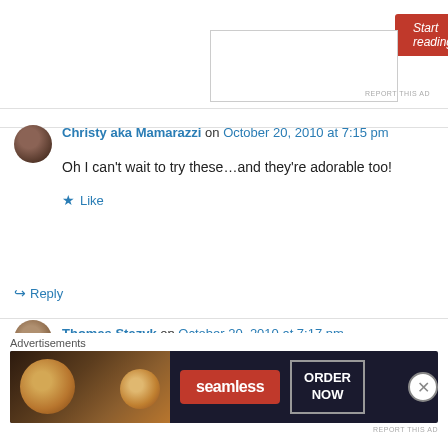[Figure (other): Red 'Start reading' button and white content box]
REPORT THIS AD
Christy aka Mamarazzi on October 20, 2010 at 7:15 pm
Oh I can't wait to try these…and they're adorable too!
Like
Reply
Thomas Stazyk on October 20, 2010 at 7:17 pm
Advertisements
[Figure (other): Seamless food delivery advertisement banner with pizza image, seamless logo, and ORDER NOW button]